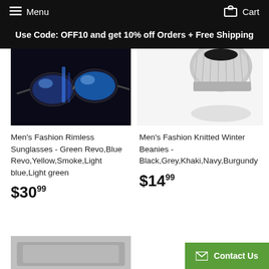Menu   Cart
Use Code: OFF10 and get 10% off Orders + Free Shipping
[Figure (photo): Product photo: Men's fashion rimless sunglasses with blue/green reflective lenses on dark background]
[Figure (photo): Product photo: Men's fashion knitted winter beanie in grey, floating with shadow below]
Men's Fashion Rimless Sunglasses - Green Revo,Blue Revo,Yellow,Smoke,Light blue,Light green
Men's Fashion Knitted Winter Beanies - Black,Grey,Khaki,Navy,Burgundy
$30.99
$14.99
[Figure (photo): Partial product photo at bottom left, appears to be a winter accessory in grey]
Contact Us